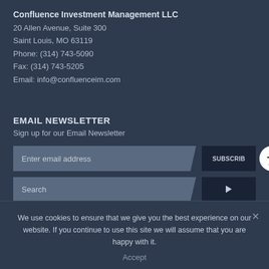Confluence Investment Management LLC
20 Allen Avenue, Suite 300
Saint Louis, MO 63119
Phone: (314) 743-5090
Fax: (314) 743-5205
Email: info@confluenceim.com
EMAIL NEWSLETTER
Sign up for our Email Newsletter
[Figure (other): Email newsletter subscription input field with placeholder 'Enter email address' and a SUBSCRIB button, plus an accessibility icon circle on the right]
[Figure (other): Search input field with placeholder 'Search' and an arrow button on the right]
[Figure (other): Social media icons: LinkedIn, Twitter, Email, Vimeo]
We use cookies to ensure that we give you the best experience on our website. If you continue to use this site we will assume that you are happy with it.
Accept